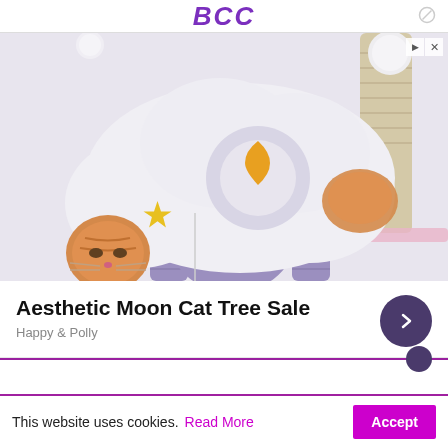BCC
[Figure (photo): A cat peeking through a cloud-shaped cat tree with yellow star and moon decorations, and purple scratching posts below. A cat tree product advertisement image for Happy & Polly.]
Aesthetic Moon Cat Tree Sale
Happy & Polly
This website uses cookies. Read More Accept